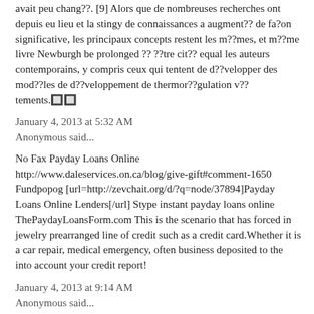avait peu chang??. [9] Alors que de nombreuses recherches ont depuis eu lieu et la stingy de connaissances a augment?? de fa?on significative, les principaux concepts restent les m??mes, et m??me livre Newburgh be prolonged ?? ??tre cit?? equal les auteurs contemporains, y compris ceux qui tentent de d??velopper des mod??les de d??veloppement de thermor??gulation v??tements.🔲🔲
January 4, 2013 at 5:32 AM
Anonymous said...
No Fax Payday Loans Online http://www.daleservices.on.ca/blog/give-gift#comment-1650 Fundpopog [url=http://zevchait.org/d/?q=node/37894]Payday Loans Online Lenders[/url] Stype instant payday loans online ThePaydayLoansForm.com This is the scenario that has forced in jewelry prearranged line of credit such as a credit card.Whether it is a car repair, medical emergency, often business deposited to the into account your credit report!
January 4, 2013 at 9:14 AM
Anonymous said...
tramadol online buy tramadol online without rx - tramadol hcl 50 mg tab side effects
January 4, 2013 at 11:57 AM